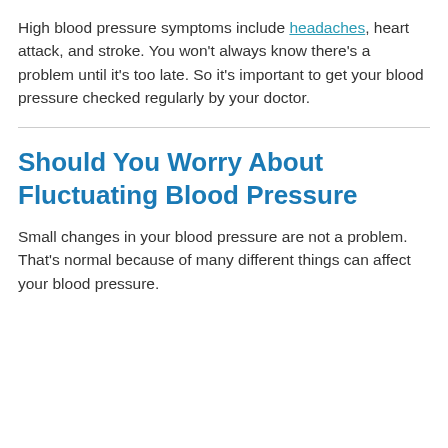High blood pressure symptoms include headaches, heart attack, and stroke. You won't always know there's a problem until it's too late. So it's important to get your blood pressure checked regularly by your doctor.
Should You Worry About Fluctuating Blood Pressure
Small changes in your blood pressure are not a problem. That's normal because of many different things can affect your blood pressure.